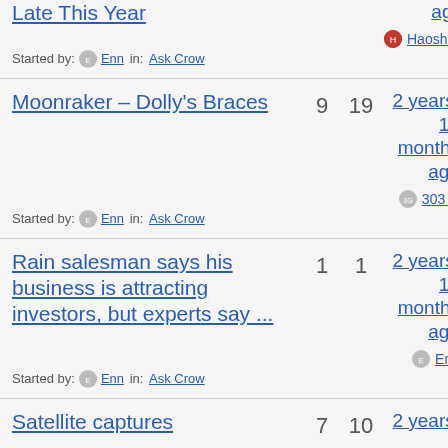Late This Year | ago | Started by: Enn in: Ask Crow | Haoshiro
Moonraker – Dolly's Braces | 9 | 19 | 2 years, 10 months ago | Started by: Enn in: Ask Crow | 303 G
Rain salesman says his business is attracting investors, but experts say ... | 1 | 1 | 2 years, 10 months ago | Started by: Enn in: Ask Crow | Enn
Satellite captures | 7 | 10 | 2 years,